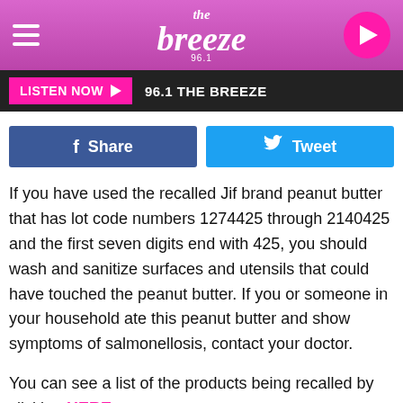the breeze 96.1
LISTEN NOW ▶  96.1 THE BREEZE
Share   Tweet
If you have used the recalled Jif brand peanut butter that has lot code numbers 1274425 through 2140425 and the first seven digits end with 425, you should wash and sanitize surfaces and utensils that could have touched the peanut butter. If you or someone in your household ate this peanut butter and show symptoms of salmonellosis, contact your doctor.
You can see a list of the products being recalled by clicking HERE.